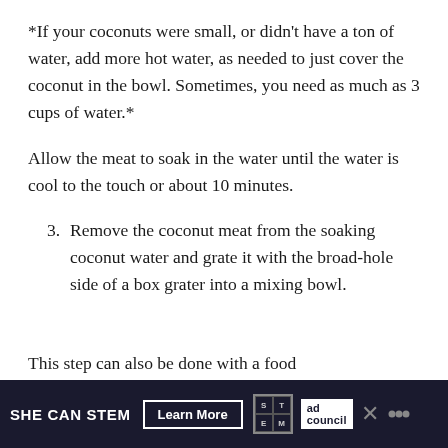*If your coconuts were small, or didn't have a ton of water, add more hot water, as needed to just cover the coconut in the bowl. Sometimes, you need as much as 3 cups of water.*
Allow the meat to soak in the water until the water is cool to the touch or about 10 minutes.
3. Remove the coconut meat from the soaking coconut water and grate it with the broad-hole side of a box grater into a mixing bowl.
This step can also be done with a food
SHE CAN STEM  Learn More